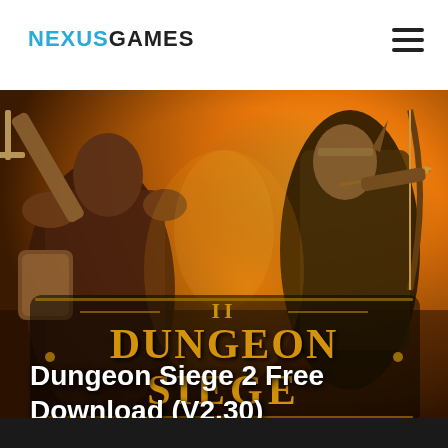NEXUSGAMES
[Figure (photo): Dungeon Siege II game cover art showing armored fantasy warrior characters with swords and bows, with the game's golden logo text 'Dungeon Siege II' overlaid on an orange/fiery background]
Dungeon Siege 2 Free Download (V2.30)